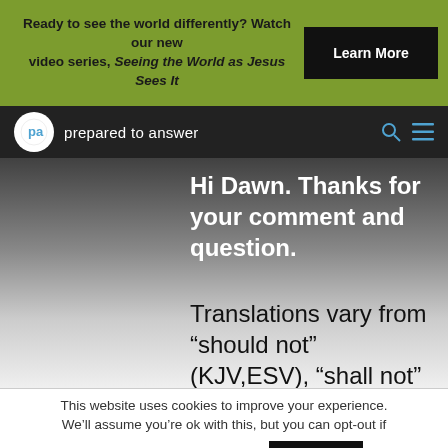Ready to see the world differently? Watch our new video series, Seeing the World as Jesus Sees It | Learn More
prepared to answer
Hi Dawn. Thanks for your comment and question.
Translations vary from “should not” (KJV,ESV), “shall not” (NASB), “will
This website uses cookies to improve your experience. We’ll assume you’re ok with this, but you can opt-out if you wish. Cookie settings ACCEPT